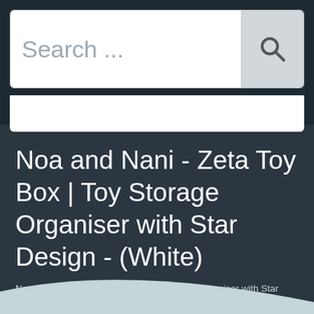[Figure (screenshot): Search bar with text placeholder 'Search ...' and a magnifying glass icon button on the right]
Noa and Nani - Zeta Toy Box | Toy Storage Organiser with Star Design - (White)
Noa and Nani - Zeta Toy Box | Toy Storage Organiser with Star Design - (White)
Currently we cannot find any retailer with this product in stock.